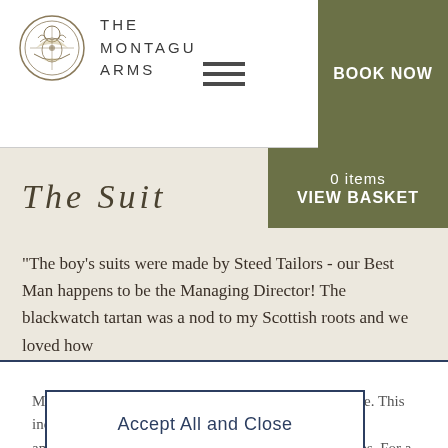THE MONTAGU ARMS | BOOK NOW
0 items
VIEW BASKET
The Suit
"The boy's suits were made by Steed Tailors - our Best Man happens to be the Managing Director! The blackwatch tartan was a nod to my Scottish roots and we loved how
Montagu Arms uses cookies to improve your experience. This includes necessary cookies to interact with the website, anonymous analytical data, and some third party cookies. For a complete list and further options please see our Cookie Policy.
Accept All and Close